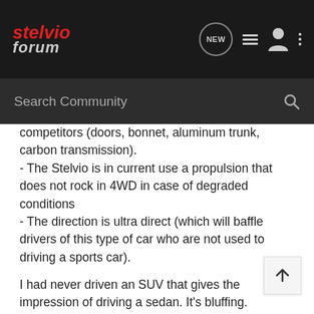stelvio forum
competitors (doors, bonnet, aluminum trunk, carbon transmission).
- The Stelvio is in current use a propulsion that does not rock in 4WD in case of degraded conditions
- The direction is ultra direct (which will baffle drivers of this type of car who are not used to driving a sports car).
I had never driven an SUV that gives the impression of driving a sedan. It's bluffing.
The engine is in terms of efficiency (470Nm and 210cv) rather in the high average of what the German manufacturers offer for 4-cylinder turbo diesel.
Frankly enough for road use, family and daily.
A little noisier than my ex V6 TDI Audi but no more than the Mercedes 250d that I could try.